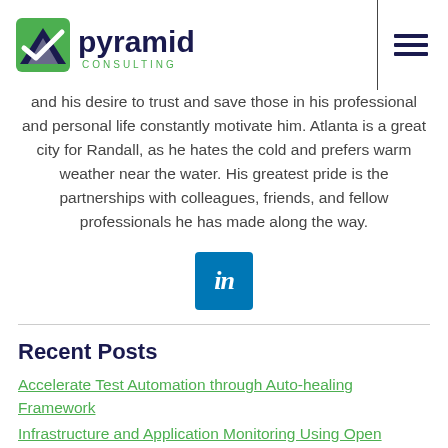Pyramid Consulting [logo + navigation]
and his desire to trust and save those in his professional and personal life constantly motivate him. Atlanta is a great city for Randall, as he hates the cold and prefers warm weather near the water. His greatest pride is the partnerships with colleagues, friends, and fellow professionals he has made along the way.
[Figure (logo): LinkedIn icon button — blue square with white 'in' text]
Recent Posts
Accelerate Test Automation through Auto-healing Framework
Infrastructure and Application Monitoring Using Open Source